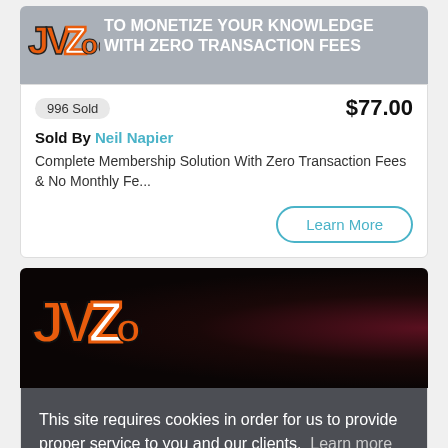[Figure (screenshot): JVZoo logo on grey product banner with text TO MONETIZE YOUR KNOWLEDGE WITH ZERO TRANSACTION FEES]
996 Sold
$77.00
Sold By Neil Napier
Complete Membership Solution With Zero Transaction Fees & No Monthly Fe...
Learn More
[Figure (screenshot): JVZoo logo on dark product card banner]
This site requires cookies in order for us to provide proper service to you and our clients.  Learn more
Allow cookies
1325 Sold
$49.99